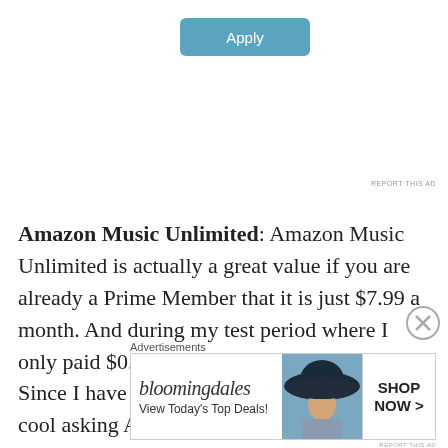[Figure (other): Blue 'Apply' button UI element]
[Figure (photo): Circular profile photo of a man at a desk, thinking]
REPORT THIS AD
Amazon Music Unlimited: Amazon Music Unlimited is actually a great value if you are already a Prime Member that it is just $7.99 a month.  And during my test period where I only paid $0.99 for 4 months it is been nice.  Since I have a Tap and an Echo it has been cool asking Alexa to play my music.  I am not sure I will continue it after my 4 months as it doesn't make sense for me to have both.  I do hope Alexa will interact with Apple music, but until then, she will be a Bluetooth Speaker
[Figure (other): Close/X circle button]
Advertisements
[Figure (other): Bloomingdales advertisement banner: 'bloomingdales / View Today's Top Deals!' with woman in hat photo and 'SHOP NOW >' button]